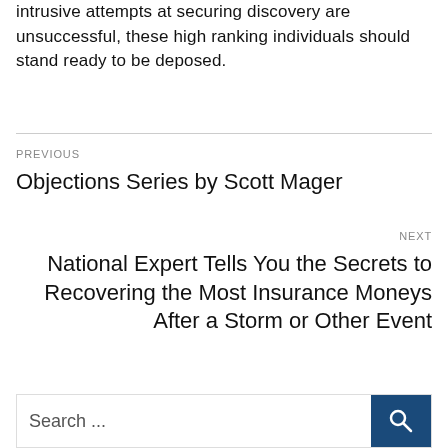intrusive attempts at securing discovery are unsuccessful, these high ranking individuals should stand ready to be deposed.
PREVIOUS
Objections Series by Scott Mager
NEXT
National Expert Tells You the Secrets to Recovering the Most Insurance Moneys After a Storm or Other Event
Search ...